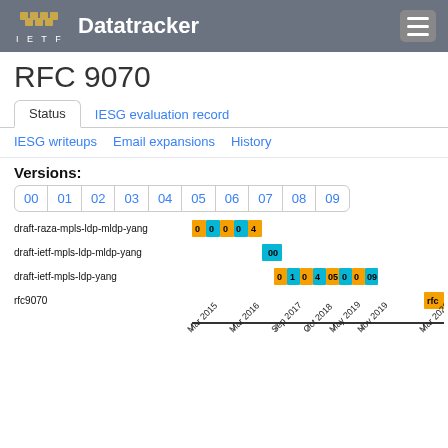IETF Datatracker
RFC 9070
Status | IESG evaluation record | IESG writeups | Email expansions | History
Versions:
00 01 02 03 04 05 06 07 08 09
[Figure (other): Gantt-style timeline showing document versions for draft-raza-mpls-ldp-mldp-yang, draft-ietf-mpls-ldp-mldp-yang, draft-ietf-mpls-ldp-yang, rfc9070 with colored bars (gold and cyan) across dates from Mar 2015 to Mar 2022]